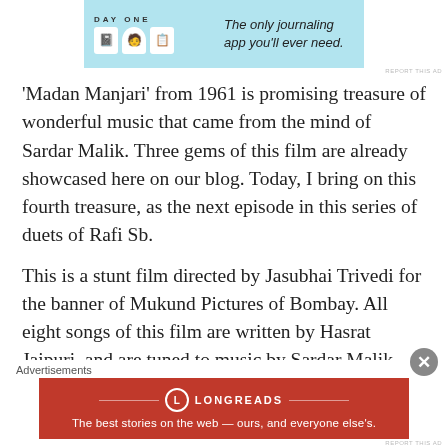[Figure (other): DAY ONE journaling app advertisement banner with blue background, icons of notebook and person, text 'The only journaling app you'll ever need.']
'Madan Manjari' from 1961 is promising treasure of wonderful music that came from the mind of Sardar Malik. Three gems of this film are already showcased here on our blog. Today, I bring on this fourth treasure, as the next episode in this series of duets of Rafi Sb.
This is a stunt film directed by Jasubhai Trivedi for the banner of Mukund Pictures of Bombay. All eight songs of this film are written by Hasrat Jaipuri, and are tuned to music by Sardar Malik. The cast of actors is listed as Nalini Chonkar, Manhar Desai, Kammo, Sundar, BM Vyas
Advertisements
[Figure (other): Longreads advertisement: red background with Longreads logo and text 'The best stories on the web — ours, and everyone else's.']